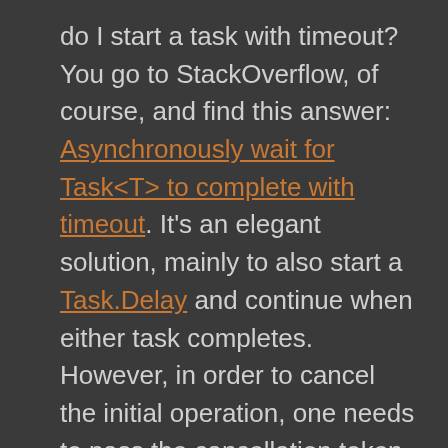do I start a task with timeout? You go to StackOverflow, of course, and find this answer: Asynchronously wait for Task<T> to complete with timeout. It's an elegant solution, mainly to also start a Task.Delay and continue when either task completes. However, in order to cancel the initial operation, one needs to pass the cancellation token to the original task and manually handle it, meaning polluting the entire business code with cancellation logic. This might be OK, yet are there alternatives?

But, isn't there the Task.Run(action) method that also accepts a CancellationToken? Yes